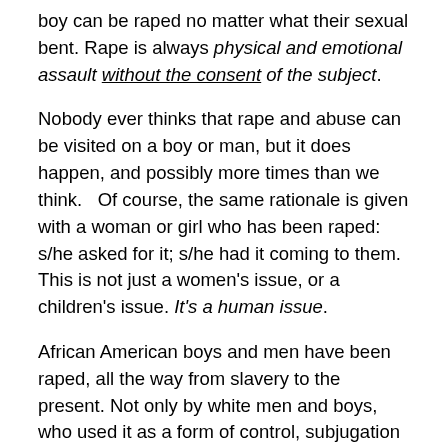boy can be raped no matter what their sexual bent. Rape is always physical and emotional assault without the consent of the subject.
Nobody ever thinks that rape and abuse can be visited on a boy or man, but it does happen, and possibly more times than we think.   Of course, the same rationale is given with a woman or girl who has been raped: s/he asked for it; s/he had it coming to them.  This is not just a women's issue, or a children's issue. It's a human issue.
African American boys and men have been raped, all the way from slavery to the present. Not only by white men and boys, who used it as a form of control, subjugation and degradation, but by other black males, particularly in jails and prisons. As a result, African American males have been socialized almost to the point of obsession over the